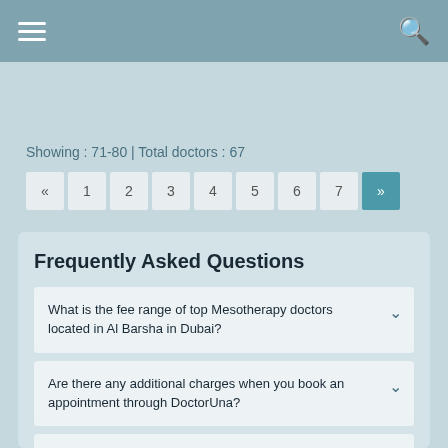[Figure (screenshot): Navigation bar with hamburger menu icon on left and search icon on right, teal/grey background]
Showing : 71-80 | Total doctors : 67
« 1 2 3 4 5 6 7 »
Frequently Asked Questions
What is the fee range of top Mesotherapy doctors located in Al Barsha in Dubai?
Are there any additional charges when you book an appointment through DoctorUna?
How can I search and book same day appointment with the best Mesotherapy doctors?
How can I find the best Mesotherapy doctors that…